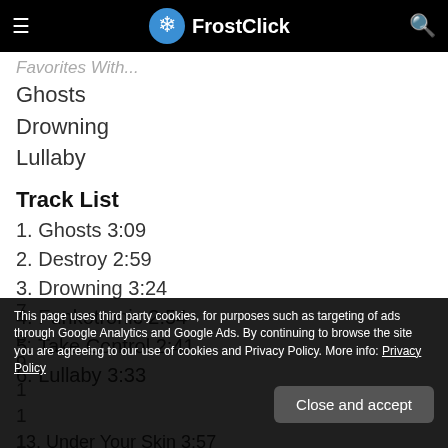FrostClick
Favorites With...
Ghosts
Drowning
Lullaby
Track List
1. Ghosts 3:09
2. Destroy 2:59
3. Drowning 3:24
4. Funkotronic 2:54
5. Take Control 2:41
6. Lullaby 3:33
This page uses third party cookies, for purposes such as targeting of ads through Google Analytics and Google Ads. By continuing to browse the site you are agreeing to our use of cookies and Privacy Policy. More info: Privacy Policy
13. Under Your Skin 3:57